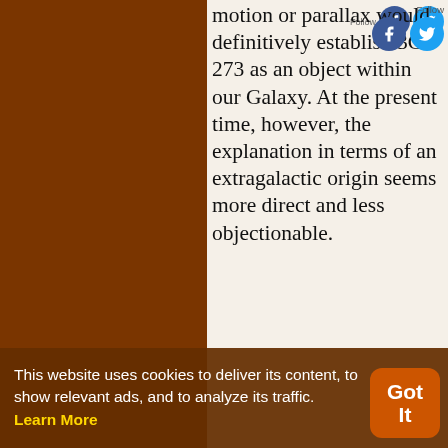motion or parallax would definitively establish 3C 273 as an object within our Galaxy. At the present time, however, the explanation in terms of an extragalactic origin seems more direct and less objectionable.
— Maarten Schmidt
'3C 273: A Star-like Object with Large Red-Shift', Nature (1963), 197, 1040.
Science quotes on: | Account (193) | Apparent (85) | Component (49) | Consideration (142) | Constant (145) | Cosmological (11) | Detection (19) | Diameter (28) | Difficulty (200) | Direct (25) | Distance | Energy (364) | Explanation | Forbidden (18) | Galaxies (29) | Galaxy (53) | Identification (18)
This website uses cookies to deliver its content, to show relevant ads, and to analyze its traffic. Learn More